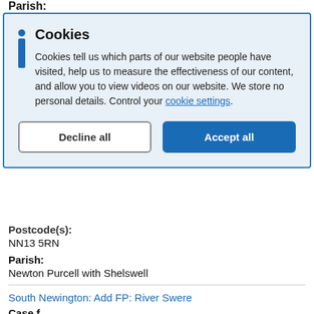Parish:
[Figure (screenshot): Cookie consent modal with blue border on light blue background. Contains bold title 'Cookies', an info icon, descriptive text about cookies, a 'Decline all' button and a blue 'Accept all' button.]
Postcode(s):
NN13 5RN
Parish:
Newton Purcell with Shelswell
South Newington: Add FP: River Swere
Case f